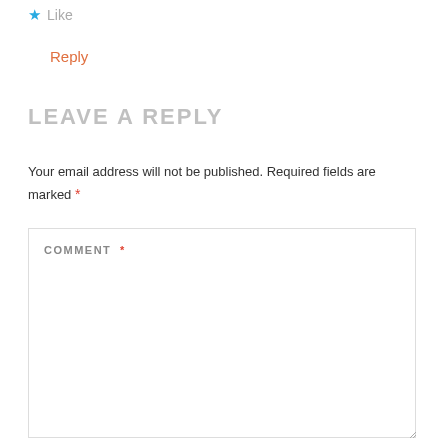★ Like
Reply
LEAVE A REPLY
Your email address will not be published. Required fields are marked *
COMMENT *